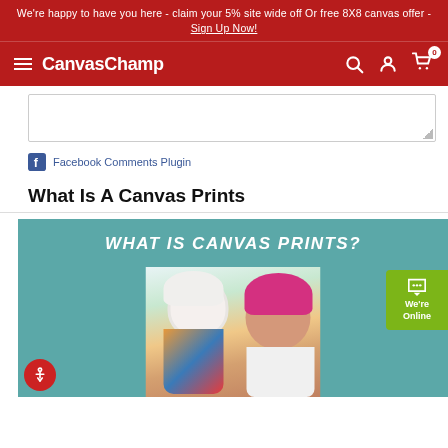We're happy to have you here - claim your 5% site wide off Or free 8X8 canvas offer - Sign Up Now!
CanvasChamp
[Figure (screenshot): Comment text area box with resize handle]
Facebook Comments Plugin
What Is A Canvas Prints
[Figure (infographic): Teal background banner with bold white italic text 'WHAT IS CANVAS PRINTS?' and a photo of a mother and child wearing winter hats]